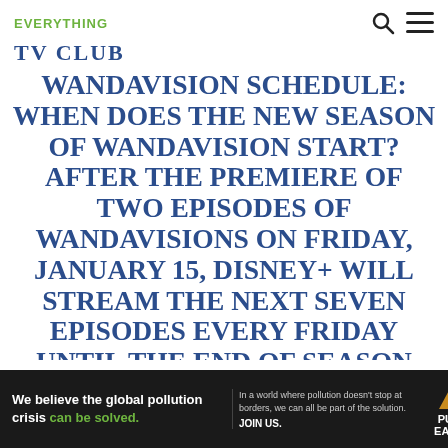EVERYTHING
TV CLUB
WANDAVISION SCHEDULE: WHEN DOES THE NEW SEASON OF WANDAVISION START? AFTER THE PREMIERE OF TWO EPISODES OF WANDAVISIONS ON FRIDAY, JANUARY 15, DISNEY+ WILL STREAM THE NEXT SEVEN EPISODES EVERY FRIDAY UNTIL THE END OF SEASON ONE AIRS ON FRIDAY, MARCH 5, 2021.WHEN DOES THE NEW WANDA MOVIE COME OUT?WANDA MAXIMOFF AND VISION ARE TWO
[Figure (other): Pure Earth advertisement banner: 'We believe the global pollution crisis can be solved.' with Pure Earth logo]